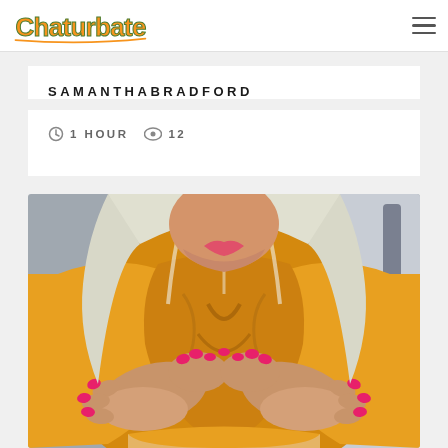Chaturbate
SAMANTHABRADFORD
1 HOUR   12
[Figure (photo): Woman in yellow/orange top with blonde hair, holding up shirt, with bright pink/red nails visible]